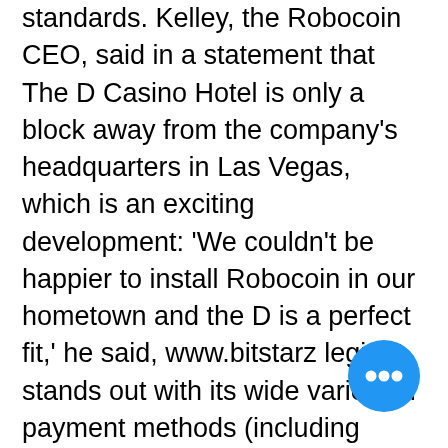standards. Kelley, the Robocoin CEO, said in a statement that The D Casino Hotel is only a block away from the company's headquarters in Las Vegas, which is an exciting development: 'We couldn't be happier to install Robocoin in our hometown and the D is a perfect fit,' he said, www.bitstarz legit. It stands out with its wide variety of payment methods (including Mastercard and VISA) and its demo account ' where everybody can try the games without making an actual investment, бонус код bitstarz. To withdraw your earnings, you need to wager the bonus at least 40 times. Dice games have become increasingly popular among Bitcoin gamblers, as their simplicity and high-odds make for an interesting game, bitstarz no deposit bonus code. Players can bet Bitcoin, up to a maximum bet of 1 BTC, on the outcome virtual dice roll, betting on the roll either being above or below a certain number
[Figure (other): Blue circular floating action button with three white dots (ellipsis/more options icon)]